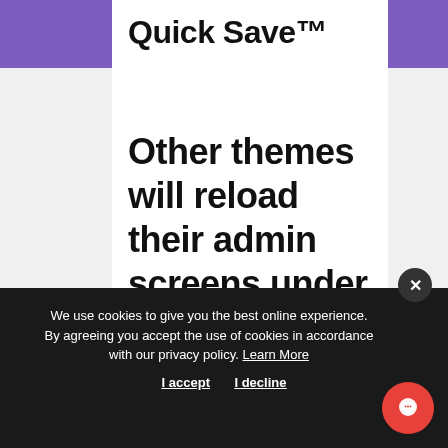Quick Save™
Other themes will reload their admin screens under your hands, making
We use cookies to give you the best online experience. By agreeing you accept the use of cookies in accordance with our privacy policy. Learn More
I accept  I decline